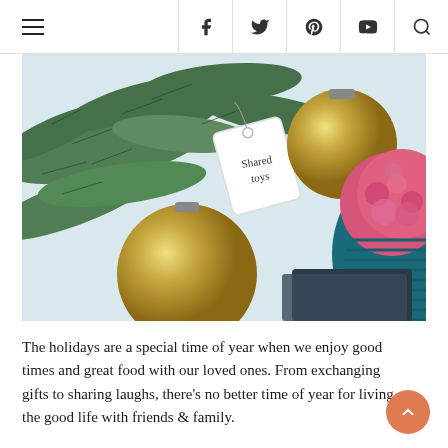Navigation bar with hamburger menu and social icons: Facebook, Twitter, Pinterest, YouTube, Search
[Figure (photo): Close-up holiday photo showing pine tree branches with gold Christmas ornaments/baubles, a handwritten gift tag reading 'Shared toys', and a colorful knitted hat with pink and teal pom-pom]
The holidays are a special time of year when we enjoy good times and great food with our loved ones. From exchanging gifts to sharing laughs, there's no better time of year for living the good life with friends & family.